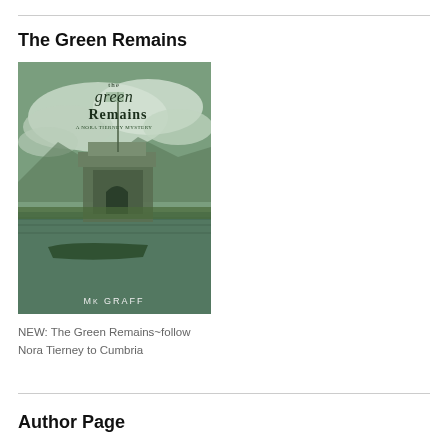The Green Remains
[Figure (illustration): Book cover for 'The Green Remains' by M.K. Graff — a Nora Tierney Mystery. Green-tinted image of a stone tower/boathouse on a lake with mountains and dramatic clouds in the background. A boat is moored nearby.]
NEW: The Green Remains~follow Nora Tierney to Cumbria
Author Page